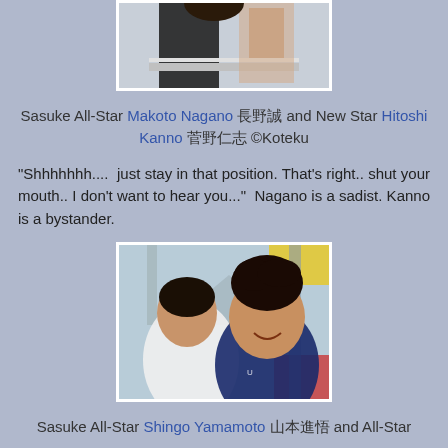[Figure (photo): Partial photo of two people, cropped at top — shows lower bodies/torso area, black outfit visible, holding a metal bar/rail, light background.]
Sasuke All-Star Makoto Nagano 長野誠 and New Star Hitoshi Kanno 菅野仁志 ©Koteku
"Shhhhhhh....  just stay in that position. That's right.. shut your mouth.. I don't want to hear you..."  Nagano is a sadist. Kanno is a bystander.
[Figure (photo): Two men at an outdoor event. The man on the right is smiling broadly, wearing a dark blue athletic shirt with Under Armour logo. The man on the left is leaning forward, wearing a white shirt, with dark hair. Colorful background with yellow and red elements.]
Sasuke All-Star Shingo Yamamoto 山本進悟 and All-Star